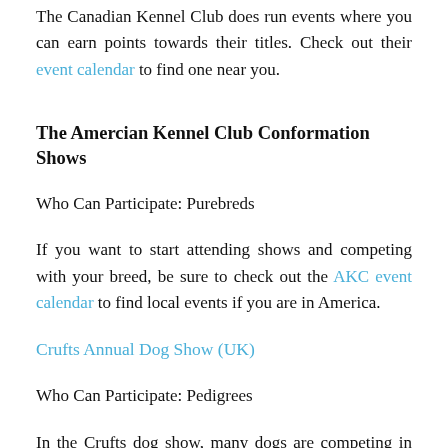The Canadian Kennel Club does run events where you can earn points towards their titles. Check out their event calendar to find one near you.
The Amercian Kennel Club Conformation Shows
Who Can Participate: Purebreds
If you want to start attending shows and competing with your breed, be sure to check out the AKC event calendar to find local events if you are in America.
Crufts Annual Dog Show (UK)
Who Can Participate: Pedigrees
In the Crufts dog show, many dogs are competing in many different dog sports, including agility, for the championship titles. To even be eligible for Crufts you